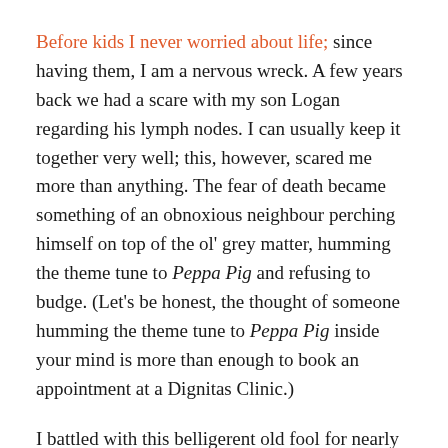Before kids I never worried about life; since having them, I am a nervous wreck. A few years back we had a scare with my son Logan regarding his lymph nodes. I can usually keep it together very well; this, however, scared me more than anything. The fear of death became something of an obnoxious neighbour perching himself on top of the ol' grey matter, humming the theme tune to Peppa Pig and refusing to budge. (Let's be honest, the thought of someone humming the theme tune to Peppa Pig inside your mind is more than enough to book an appointment at a Dignitas Clinic.)
I battled with this belligerent old fool for nearly two years, spiralling into a dark hole where I became fixated on convincing myself I was dying. I became erratic and snappy and an overall arsehole. I spent over $3000 on private medical tests and what's even worse, I wasted so